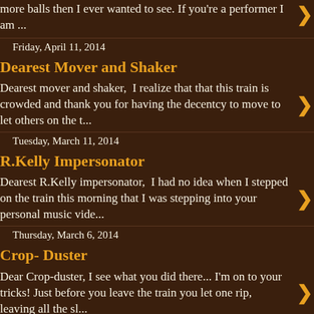more balls then I ever wanted to see. If you're a performer I am ...
Friday, April 11, 2014
Dearest Mover and Shaker
Dearest mover and shaker,  I realize that that this train is crowded and thank you for having the decentcy to move to let others on the t...
Tuesday, March 11, 2014
R.Kelly Impersonator
Dearest R.Kelly impersonator,  I had no idea when I stepped on the train this morning that I was stepping into your personal music vide...
Thursday, March 6, 2014
Crop- Duster
Dear Crop-duster, I see what you did there... I'm on to your tricks! Just before you leave the train you let one rip, leaving all the sl...
Monday, March 3, 2014
Total Eclipse of the ...